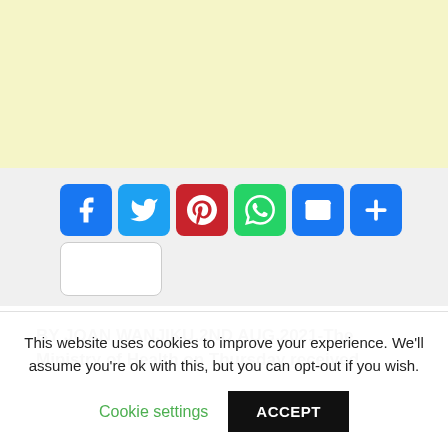[Figure (other): Yellow/cream colored advertisement banner area at the top of the page]
[Figure (infographic): Social media sharing buttons: Facebook (blue), Twitter (light blue), Pinterest (red), WhatsApp (green), Email (blue), More/Plus (blue), blank white button]
BY JOAN WANJIKU,2ND AUG,2021-The Ministry of Health on Thursday received
This website uses cookies to improve your experience. We'll assume you're ok with this, but you can opt-out if you wish.
Cookie settings   ACCEPT